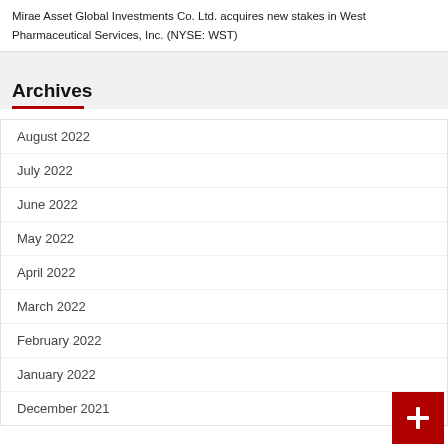Mirae Asset Global Investments Co. Ltd. acquires new stakes in West Pharmaceutical Services, Inc. (NYSE: WST)
Archives
August 2022
July 2022
June 2022
May 2022
April 2022
March 2022
February 2022
January 2022
December 2021